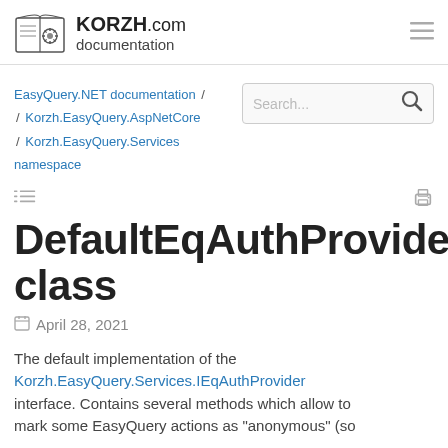KORZH.com documentation
EasyQuery.NET documentation / Korzh.EasyQuery.AspNetCore / Korzh.EasyQuery.Services namespace
DefaultEqAuthProvider class
April 28, 2021
The default implementation of the Korzh.EasyQuery.Services.IEqAuthProvider interface. Contains several methods which allow to mark some EasyQuery actions as "anonymous" (so